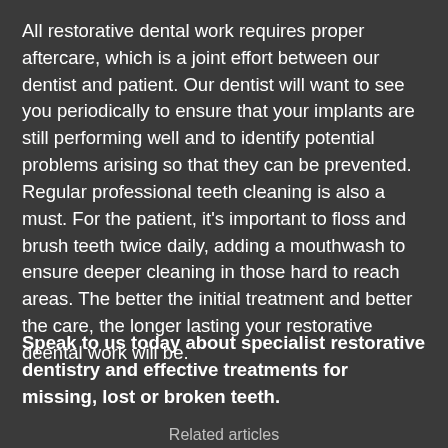All restorative dental work requires proper aftercare, which is a joint effort between our dentist and patient. Our dentist will want to see you periodically to ensure that your implants are still performing well and to identify potential problems arising so that they can be prevented. Regular professional teeth cleaning is also a must. For the patient, it's important to floss and brush teeth twice daily, adding a mouthwash to ensure deeper cleaning in those hard to reach areas. The better the initial treatment and better the care, the longer lasting your restorative deental work will be.
Speak to us today about specialist restorative dentistry and effective treatments for missing, lost or broken teeth.
Related articles